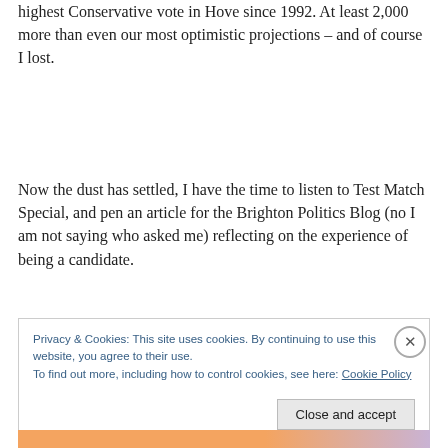highest Conservative vote in Hove since 1992. At least 2,000 more than even our most optimistic projections – and of course I lost.
Now the dust has settled, I have the time to listen to Test Match Special, and pen an article for the Brighton Politics Blog (no I am not saying who asked me) reflecting on the experience of being a candidate.
Privacy & Cookies: This site uses cookies. By continuing to use this website, you agree to their use.
To find out more, including how to control cookies, see here: Cookie Policy
Close and accept